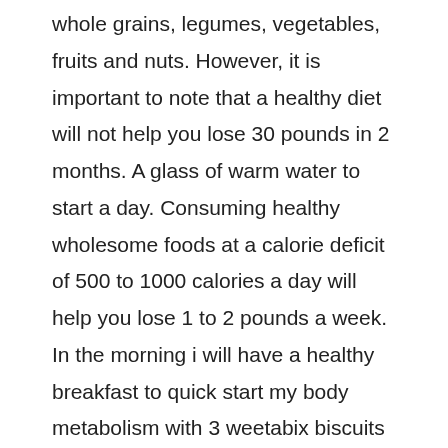whole grains, legumes, vegetables, fruits and nuts. However, it is important to note that a healthy diet will not help you lose 30 pounds in 2 months. A glass of warm water to start a day. Consuming healthy wholesome foods at a calorie deficit of 500 to 1000 calories a day will help you lose 1 to 2 pounds a week. In the morning i will have a healthy breakfast to quick start my body metabolism with 3 weetabix biscuits with warm semi skimmed milk, coffee, 2 toasts and 1 banana.
In Two Months, This Will Equate To A Weight Loss Of Anywhere Between 8 To 16 Pounds And Not 30 Pounds.
My weight loss diet plan to lose 6kg in 2 weeks. As claire